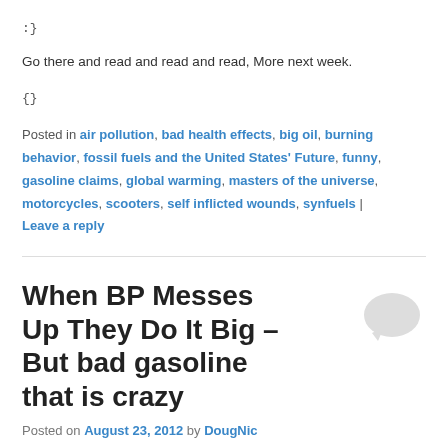:}
Go there and read and read and read, More next week.
{}
Posted in air pollution, bad health effects, big oil, burning behavior, fossil fuels and the United States' Future, funny, gasoline claims, global warming, masters of the universe, motorcycles, scooters, self inflicted wounds, synfuels | Leave a reply
When BP Messes Up They Do It Big – But bad gasoline that is crazy
Posted on August 23, 2012 by DougNic
First they destroy the Gulf of Mexico and now they are